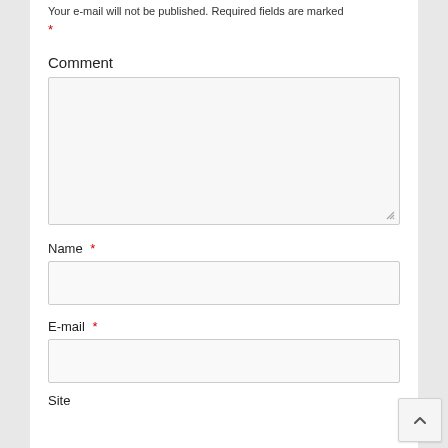Your e-mail will not be published. Required fields are marked *
Comment
[Comment textarea]
Name *
[Name input]
E-mail *
[E-mail input]
Site